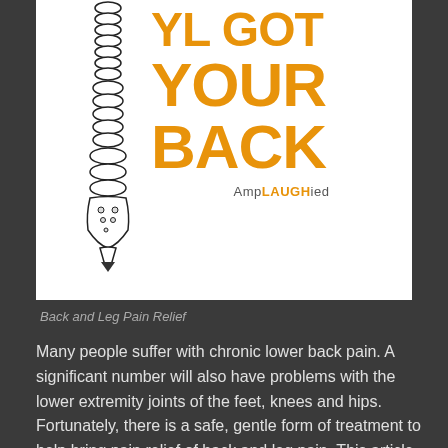[Figure (illustration): Book cover showing a spine/vertebral column illustration on the left side and large orange bold text reading 'YOUR BACK' with partial top text cut off. Bottom center shows 'AmpLAUGHied' branding with LAUGH in orange.]
Back and Leg Pain Relief
Many people suffer with chronic lower back pain. A significant number will also have problems with the lower extremity joints of the feet, knees and hips. Fortunately, there is a safe, gentle form of treatment to help bring pain relief of back and leg pain. This article